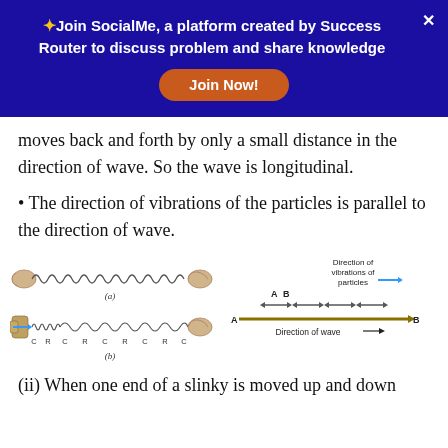✦Join SocialMe, a platform created by Success Router to discuss problem and share knowledge
moves back and forth by only a small distance in the direction of wave. So the wave is longitudinal.
• The direction of vibrations of the particles is parallel to the direction of wave.
[Figure (illustration): Left: Two diagrams of a slinky spring - (a) stretched horizontally between two hands, (b) being compressed/extended showing compressions (C) and rarefactions (R) with a blue arrow indicating wave direction. Right: diagram showing direction of vibrations of particles (double-headed arrows labeled A and B) and direction of wave (rightward arrow from A to B along a horizontal line).]
(ii) When one end of a slinky is moved up and down